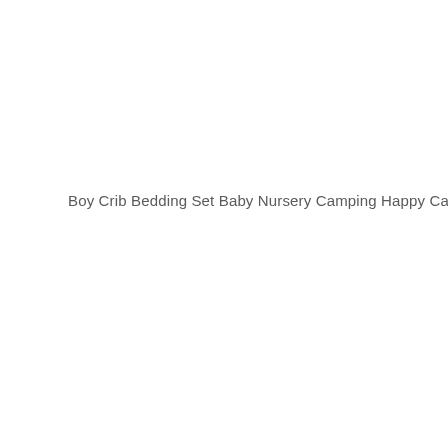Boy Crib Bedding Set Baby Nursery Camping Happy Camper